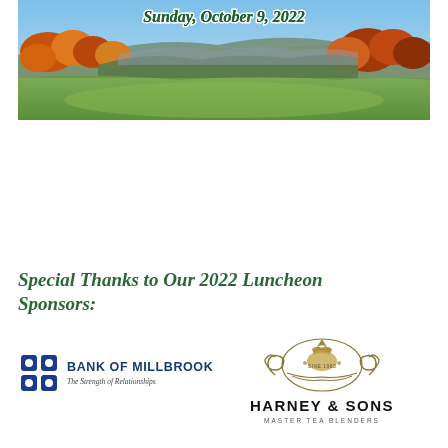[Figure (photo): Autumn landscape with rolling hills, colorful foliage (orange, yellow, green trees), blue sky, and green meadow in foreground. Text 'Sunday, October 9, 2022' overlaid in green italic bold at the top.]
Special Thanks to Our 2022 Luncheon Sponsors:
[Figure (logo): Bank of Millbrook logo: blue square grid/flower icon on left, with 'BANK OF MILLBROOK' in bold blue capitals and tagline 'The Strength of Relationships' in italic below.]
[Figure (logo): Harney & Sons Fine Teas logo: decorative gold crest/emblem with scrollwork, 'HARNEY & SONS' in large bold capitals, 'MASTER TEA BLENDERS' in small spaced capitals below.]